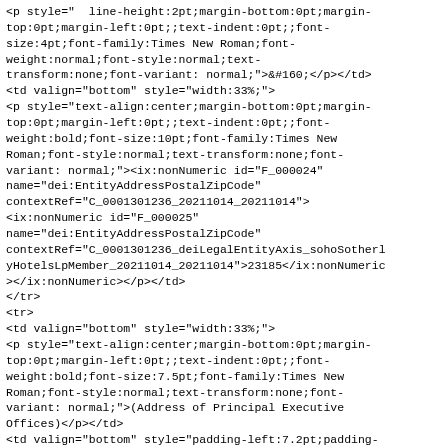<p style="line-height:2pt;margin-bottom:0pt;margin-top:0pt;margin-left:0pt;;text-indent:0pt;;font-size:4pt;font-family:Times New Roman;font-weight:normal;font-style:normal;text-transform:none;font-variant: normal;">&#160;</p></td>
<td valign="bottom" style="width:33%;">
<p style="text-align:center;margin-bottom:0pt;margin-top:0pt;margin-left:0pt;;text-indent:0pt;;font-weight:bold;font-size:10pt;font-family:Times New Roman;font-style:normal;text-transform:none;font-variant: normal;"><ix:nonNumeric id="F_000024" name="dei:EntityAddressPostalZipCode" contextRef="C_0001301236_20211014_20211014">
<ix:nonNumeric id="F_000025" name="dei:EntityAddressPostalZipCode" contextRef="C_0001301236_deiLegalEntityAxis_sohoSotherlyhHotelsLpMember_20211014_20211014">23185</ix:nonNumeric>
></ix:nonNumeric></p></td>
</tr>
<tr>
<td valign="bottom" style="width:33%;">
<p style="text-align:center;margin-bottom:0pt;margin-top:0pt;margin-left:0pt;;text-indent:0pt;;font-weight:bold;font-size:7.5pt;font-family:Times New Roman;font-style:normal;text-transform:none;font-variant: normal;">(Address of Principal Executive Offices)</p></td>
<td valign="bottom" style="padding-left:7.2pt;padding-Right:0pt;padding-Top:0pt;padding-Bottom:0pt;width:33%;">
<p style="line-height:2pt;margin-bottom:0pt;margin-